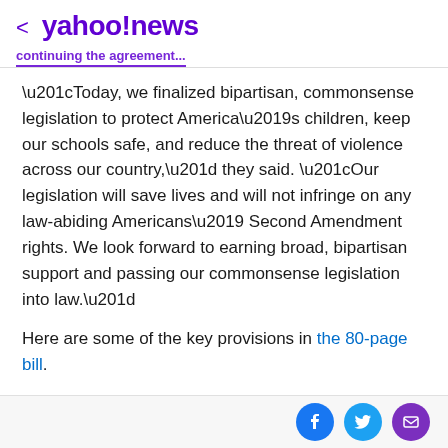< yahoo!news
continuing the agreement...
“Today, we finalized bipartisan, commonsense legislation to protect America’s children, keep our schools safe, and reduce the threat of violence across our country,” they said. “Our legislation will save lives and will not infringe on any law-abiding Americans’ Second Amendment rights. We look forward to earning broad, bipartisan support and passing our commonsense legislation into law.”
Here are some of the key provisions in the 80-page bill.
Funding for crisis centers and so-called red flag laws